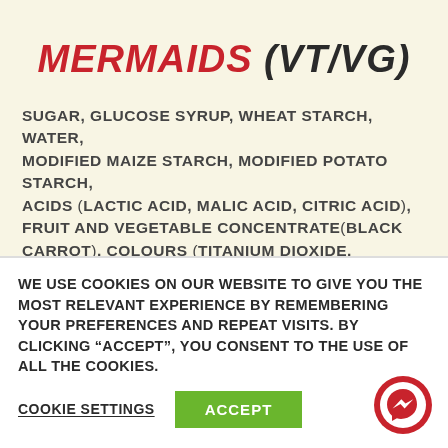MERMAIDS (VT/VG)
SUGAR, GLUCOSE SYRUP, WHEAT STARCH, WATER, MODIFIED MAIZE STARCH, MODIFIED POTATO STARCH, ACIDS (LACTIC ACID, MALIC ACID, CITRIC ACID), FRUIT AND VEGETABLE CONCENTRATE(BLACK CARROT), COLOURS (TITANIUM DIOXIDE, BRILLIANT
WE USE COOKIES ON OUR WEBSITE TO GIVE YOU THE MOST RELEVANT EXPERIENCE BY REMEMBERING YOUR PREFERENCES AND REPEAT VISITS. BY CLICKING “ACCEPT”, YOU CONSENT TO THE USE OF ALL THE COOKIES.
COOKIE SETTINGS   ACCEPT